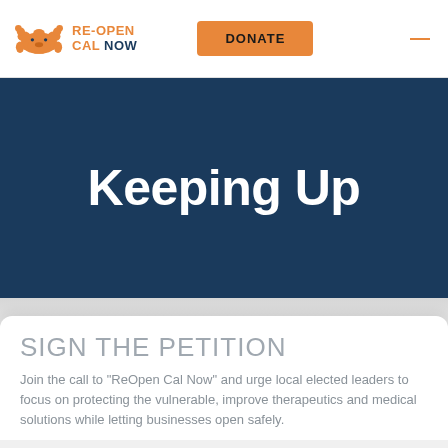RE-OPEN CAL NOW — DONATE
Keeping Up
SIGN THE PETITION
Join the call to "ReOpen Cal Now" and urge local elected leaders to focus on protecting the vulnerable, improve therapeutics and medical solutions while letting businesses open safely.